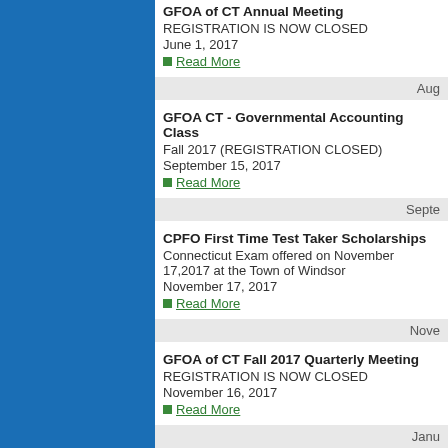GFOA of CT Annual Meeting
REGISTRATION IS NOW CLOSED
June 1, 2017
Read More
Aug
GFOA CT - Governmental Accounting Class
Fall 2017 (REGISTRATION CLOSED)
September 15, 2017
Read More
Septe
CPFO First Time Test Taker Scholarships
Connecticut Exam offered on November 17,2017 at the Town of Windsor
November 17, 2017
Read More
Nove
GFOA of CT Fall 2017 Quarterly Meeting
REGISTRATION IS NOW CLOSED
November 16, 2017
Read More
Janu
NESGFOA Scholarship
Scholarship Opportunity